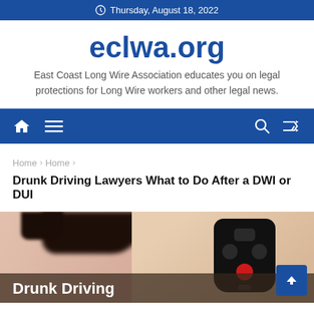Thursday, August 18, 2022
eclwa.org
East Coast Long Wire Association educates you on legal protections for Long Wire workers and other legal news.
[Figure (infographic): Navigation bar with home icon, menu icon, search icon, and shuffle icon on blue background]
Home › Home ›
Drunk Driving Lawyers What to Do After a DWI or DUI
[Figure (photo): Person holding a car key fob/remote, with blurred face in background, with text overlay reading 'Drunk Driving']